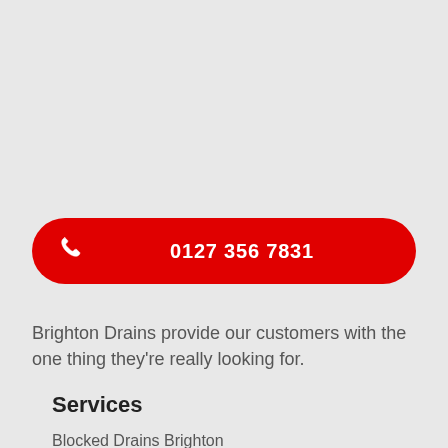[Figure (other): Red rounded pill-shaped button with white telephone icon on the left and phone number text centered]
Brighton Drains provide our customers with the one thing they're really looking for.
Services
Blocked Drains Brighton